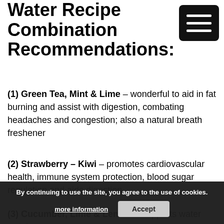Water Recipe Combination Recommendations:
(1) Green Tea, Mint & Lime – wonderful to aid in fat burning and assist with digestion, combating headaches and congestion; also a natural breath freshener
(2) Strawberry – Kiwi – promotes cardiovascular health, immune system protection, blood sugar regulation and aids digestion
(3) Cucumber, Lime & Lemon – supports water weight
By continuing to use the site, you agree to the use of cookies.